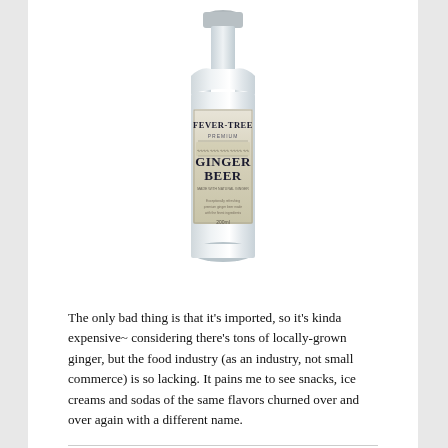[Figure (photo): A clear glass bottle of Fever-Tree Premium Ginger Beer, 200ml, with a white and gold label.]
The only bad thing is that it's imported, so it's kinda expensive~ considering there's tons of locally-grown ginger, but the food industry (as an industry, not small commerce) is so lacking. It pains me to see snacks, ice creams and sodas of the same flavors churned over and over again with a different name.
In English, Japanese, Products, Sharing, Spanish  food, holidays, japan, musings, peru